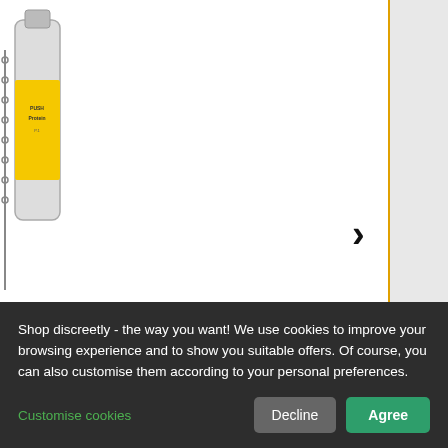[Figure (photo): Product bottle image, partially cropped on left side, appears to be a supplement/liquid product with yellow label]
>
kstar S...
0 EUR
w!
| QUIC'D ORIGINAL small |
| --- |
| Content: 10 ml |
| Isopropyl Nitrite |
Shop discreetly - the way you want! We use cookies to improve your browsing experience and to show you suitable offers. Of course, you can also customise them according to your personal preferences.
Customise cookies
Decline
Agree